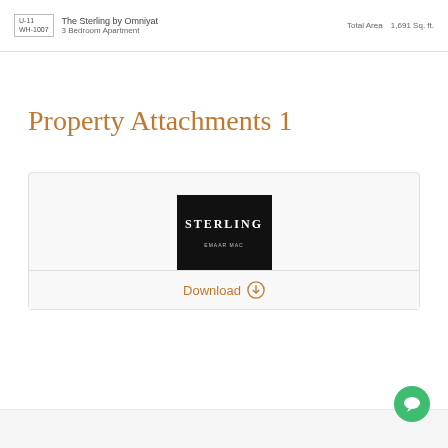WH-1007 The Sterling by Omniyat 3 Bedroom Apartment Total Area 1,691 Sq. ft.
Property Attachments 1
[Figure (illustration): Black brochure cover with 'STERLING' text in white serif letters and small subtitle text below]
Download